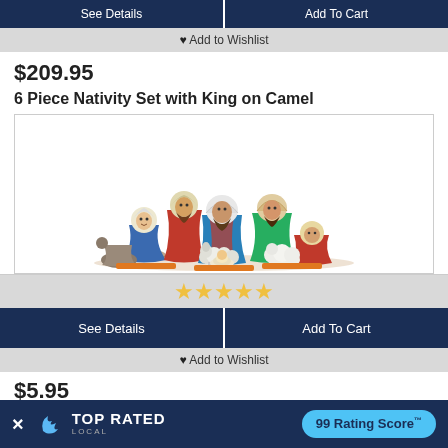See Details | Add To Cart
♥ Add to Wishlist
$209.95
6 Piece Nativity Set with King on Camel
[Figure (photo): Photo of a 6-piece nativity set figurine collection with colorful cartoon-style characters including Mary, Joseph, baby Jesus, wise men, and animals]
★★★★★ (star rating)
See Details | Add To Cart
♥ Add to Wishlist
$5.95
× TOP RATED LOCAL | 99 Rating Score™